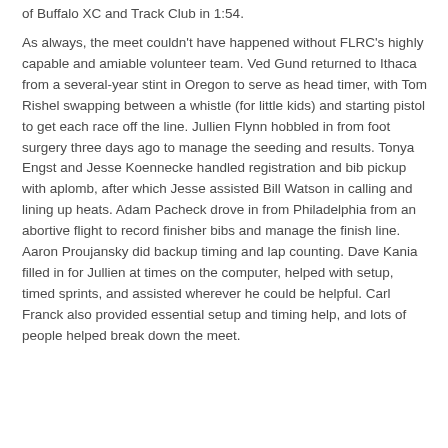of Buffalo XC and Track Club in 1:54.
As always, the meet couldn't have happened without FLRC's highly capable and amiable volunteer team. Ved Gund returned to Ithaca from a several-year stint in Oregon to serve as head timer, with Tom Rishel swapping between a whistle (for little kids) and starting pistol to get each race off the line. Jullien Flynn hobbled in from foot surgery three days ago to manage the seeding and results. Tonya Engst and Jesse Koennecke handled registration and bib pickup with aplomb, after which Jesse assisted Bill Watson in calling and lining up heats. Adam Pacheck drove in from Philadelphia from an abortive flight to record finisher bibs and manage the finish line. Aaron Proujansky did backup timing and lap counting. Dave Kania filled in for Jullien at times on the computer, helped with setup, timed sprints, and assisted wherever he could be helpful. Carl Franck also provided essential setup and timing help, and lots of people helped break down the meet.